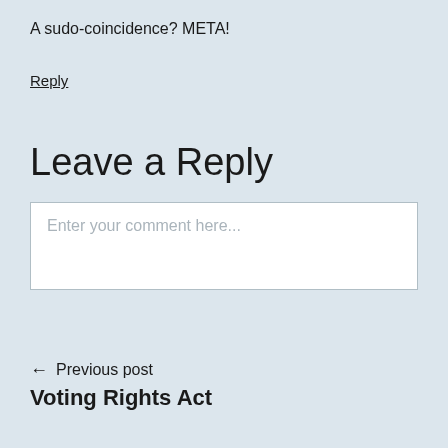A sudo-coincidence? META!
Reply
Leave a Reply
Enter your comment here...
← Previous post
Voting Rights Act